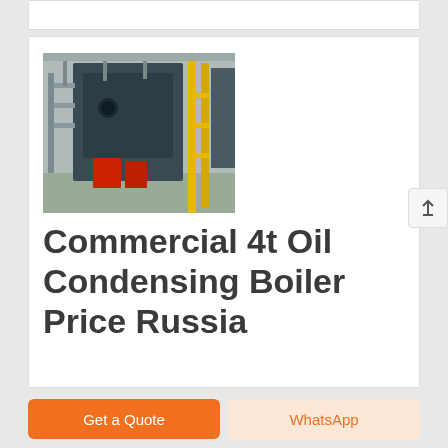[Figure (photo): Industrial boiler equipment in a factory setting — large dark metal boiler with yellow structural supports, red components, and pipework visible]
Commercial 4t Oil Condensing Boiler Price Russia
4t gas fired Condensing Boiler Commercial Seller Russia. seller 4t coal boiler high efficiency cambodia. Best products for import Natural Gas fired 5ton steam boilerUS $ 4000 150000 / Unit New Natural Circulation Industrial.Source from Henan Province Sitong 3ton Oil fired steam boiler cost in India Industrial Gas 2ton oil
Get a Quote
WhatsApp